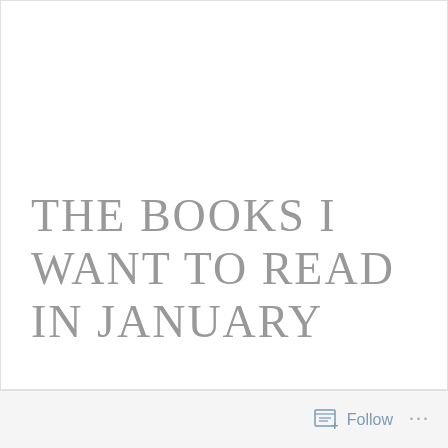THE BOOKS I WANT TO READ IN JANUARY
Follow ...